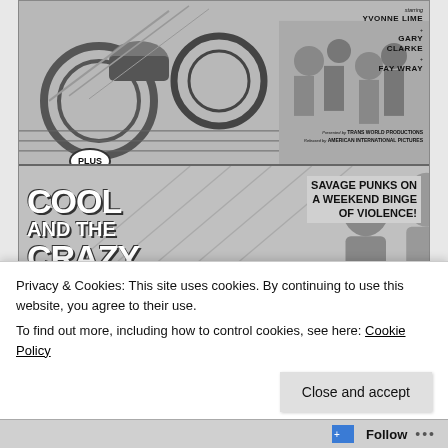[Figure (illustration): Vintage movie theater advertisement. Top portion shows a motorcycle-themed film starring Yvonne Lime, Gary Clarke, and Fay Wray, presented by Trans World Productions and released by American International Pictures. A 'PLUS' bubble separates it from the lower advertisement for 'COOL AND THE CRAZY' with tagline 'SAVAGE PUNKS ON A WEEKEND BINGE OF VIOLENCE!' presented by Imperial Productions and released by American International Pictures. Bottom bar reads 'ALSO CARTOON & WORLD NEWS' and 'Adults 50c til 6'.]
Privacy & Cookies: This site uses cookies. By continuing to use this website, you agree to their use.
To find out more, including how to control cookies, see here: Cookie Policy
Close and accept
Follow ...